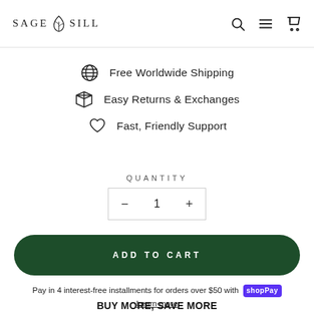SAGE SILL
Free Worldwide Shipping
Easy Returns & Exchanges
Fast, Friendly Support
QUANTITY
- 1 +
ADD TO CART
Pay in 4 interest-free installments for orders over $50 with shopPay. Learn more
BUY MORE, SAVE MORE